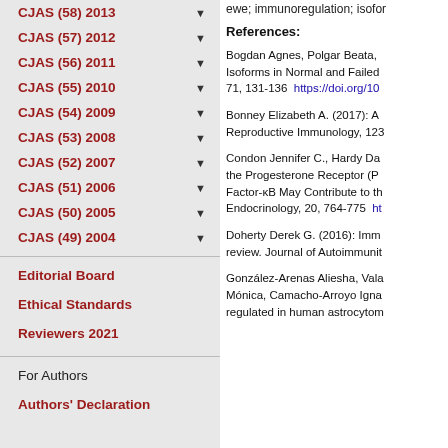CJAS (58) 2013
CJAS (57) 2012
CJAS (56) 2011
CJAS (55) 2010
CJAS (54) 2009
CJAS (53) 2008
CJAS (52) 2007
CJAS (51) 2006
CJAS (50) 2005
CJAS (49) 2004
Editorial Board
Ethical Standards
Reviewers 2021
For Authors
Authors' Declaration
ewe; immunoregulation; isofor
References:
Bogdan Agnes, Polgar Beata, Isoforms in Normal and Failed 71, 131-136  https://doi.org/10
Bonney Elizabeth A. (2017): A Reproductive Immunology, 123
Condon Jennifer C., Hardy Da the Progesterone Receptor (P Factor-κB May Contribute to th Endocrinology, 20, 764-775  h
Doherty Derek G. (2016): Imm review. Journal of Autoimmunit
González-Arenas Aliesha, Vala Mónica, Camacho-Arroyo Igna regulated in human astrocytom